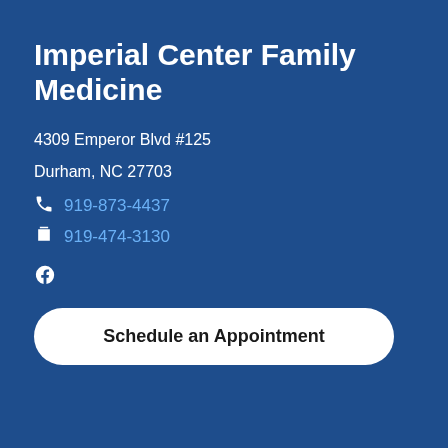Imperial Center Family Medicine
4309 Emperor Blvd #125
Durham, NC 27703
919-873-4437
919-474-3130
[Figure (logo): Facebook icon]
Schedule an Appointment